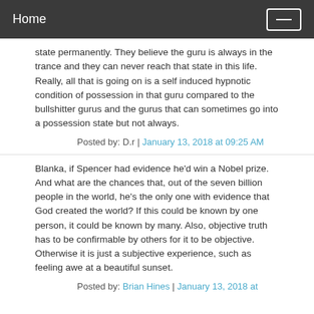Home
state permanently. They believe the guru is always in the trance and they can never reach that state in this life. Really, all that is going on is a self induced hypnotic condition of possession in that guru compared to the bullshitter gurus and the gurus that can sometimes go into a possession state but not always.
Posted by: D.r | January 13, 2018 at 09:25 AM
Blanka, if Spencer had evidence he'd win a Nobel prize. And what are the chances that, out of the seven billion people in the world, he's the only one with evidence that God created the world? If this could be known by one person, it could be known by many. Also, objective truth has to be confirmable by others for it to be objective. Otherwise it is just a subjective experience, such as feeling awe at a beautiful sunset.
Posted by: Brian Hines | January 13, 2018 at